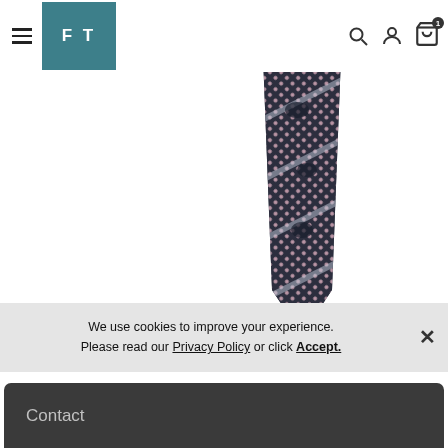[Figure (screenshot): E-commerce website screenshot showing a patterned necktie product (dark navy/grey/pink checkered and floral pattern) displayed against a white background, with navigation header including hamburger menu, FT logo, search, user, and cart icons]
We use cookies to improve your experience. Please read our Privacy Policy or click Accept.
Contact